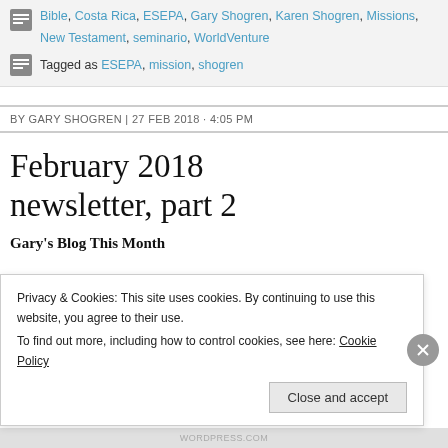Bible, Costa Rica, ESEPA, Gary Shogren, Karen Shogren, Missions, New Testament, seminario, WorldVenture
Tagged as ESEPA, mission, shogren
BY GARY SHOGREN | 27 FEB 2018 · 4:05 PM
February 2018 newsletter, part 2
Gary's Blog This Month
Privacy & Cookies: This site uses cookies. By continuing to use this website, you agree to their use.
To find out more, including how to control cookies, see here: Cookie Policy
Close and accept